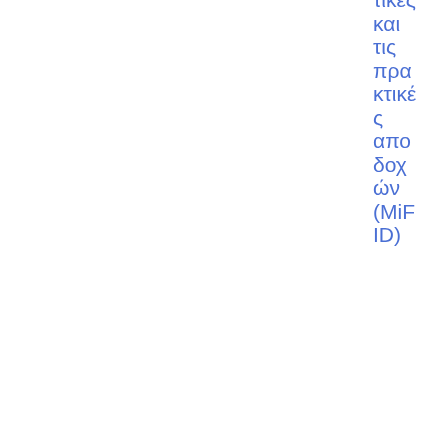τικές και τις πρακτικές αποδοχών (MiFID)
23/06/2015
2015/609 EL
Κατευθυντήριες γραμμές σχετικά με την περιοδική
Guidelines and Technical standards
Credit Rating Agencies
Guidelines & Recommendations
PDF
33
8.39 KB